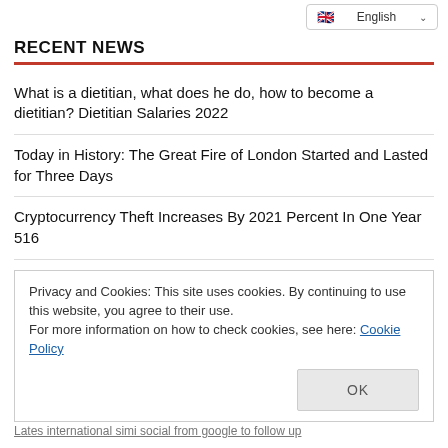English
RECENT NEWS
What is a dietitian, what does he do, how to become a dietitian? Dietitian Salaries 2022
Today in History: The Great Fire of London Started and Lasted for Three Days
Cryptocurrency Theft Increases By 2021 Percent In One Year 516
What Happens If Tonsils Are Removed? When Should Tonsils Be Taken?
Privacy and Cookies: This site uses cookies. By continuing to use this website, you agree to their use. For more information on how to check cookies, see here: Cookie Policy
OK
Lates international simi social from google to follow up